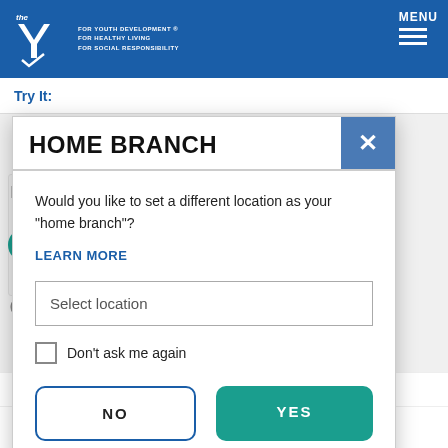[Figure (screenshot): YMCA website header with blue banner, Y logo, tagline FOR YOUTH DEVELOPMENT, FOR HEALTHY LIVING, FOR SOCIAL RESPONSIBILITY, and MENU button with hamburger icon]
Try It:
HOME BRANCH
Would you like to set a different location as your "home branch"?
LEARN MORE
Select location
Don't ask me again
NO
YES
MAPLEWOOD FAMILY YMCA
NORTHWEST FAMILY YMCA